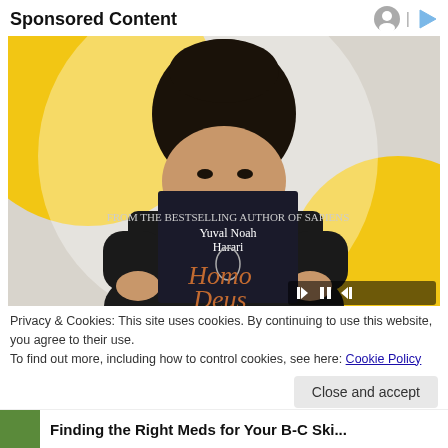Sponsored Content
[Figure (photo): A person holding up the book 'Homo Deus' by Yuval Noah Harari in front of their face, with a yellow and white decorative background. Media player controls are visible at the bottom right.]
Privacy & Cookies: This site uses cookies. By continuing to use this website, you agree to their use.
To find out more, including how to control cookies, see here: Cookie Policy
Close and accept
Finding the Right Meds for Your B-C Ski...